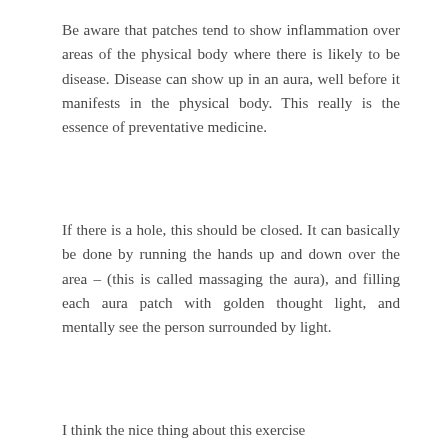Be aware that patches tend to show inflammation over areas of the physical body where there is likely to be disease. Disease can show up in an aura, well before it manifests in the physical body. This really is the essence of preventative medicine.
If there is a hole, this should be closed. It can basically be done by running the hands up and down over the area – (this is called massaging the aura), and filling each aura patch with golden thought light, and mentally see the person surrounded by light.
I think the nice thing about this exercise